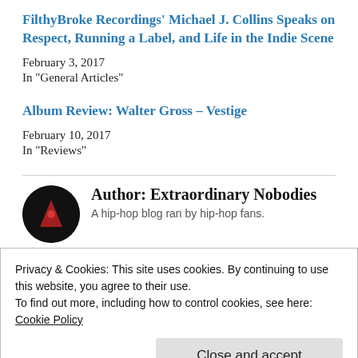FilthyBroke Recordings' Michael J. Collins Speaks on Respect, Running a Label, and Life in the Indie Scene
February 3, 2017
In "General Articles"
Album Review: Walter Gross – Vestige
February 10, 2017
In "Reviews"
Author: Extraordinary Nobodies
A hip-hop blog ran by hip-hop fans.
Privacy & Cookies: This site uses cookies. By continuing to use this website, you agree to their use.
To find out more, including how to control cookies, see here: Cookie Policy
Close and accept
Other Genres, FilthyBroke Recordings, Michael J. Collins,